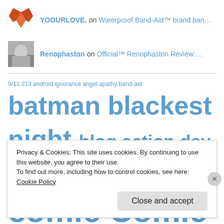YOOURLOVE. on Waterproof Band-Aid™ brand ban…
Renophaston on Official™ Renophaston Review:…
[Figure (infographic): Tag cloud with blog-related tags in varying sizes, all in blue. Tags include: 9/11, 213, android ignorance, angel, apathy, band-aid, batman (very large), blackest night (very large), blog action day (large), blood, Breakfast, buffy (large), camp nowhere, character development, christopher lloyd, cinema, classic cinema, comic (huge), Comic books (huge), comics (large), costume design, data, Did I spell his name right? I messed up]
Privacy & Cookies: This site uses cookies. By continuing to use this website, you agree to their use. To find out more, including how to control cookies, see here: Cookie Policy
Close and accept